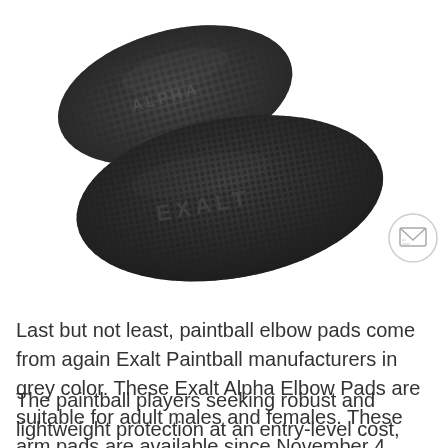[Figure (photo): Photograph of dark grey/black Exalt Alpha Elbow Pads with textured surface and 'EXALT' branding visible, shown at an angle against a white background. A small circular email/envelope icon overlay appears in the lower right of the image area.]
Last but not least, paintball elbow pads come from again Exalt Paintball manufacturers in grey color. These Exalt Alpha Elbow Pads are suitable for adult males and females. These arm pads are available since November 4, 2017.
The paintball players seeking robust and lightweight protection at an entry-level cost, these pads are the right choice for you. This product can easily protect you from impacts and bruising while withstanding the maximum